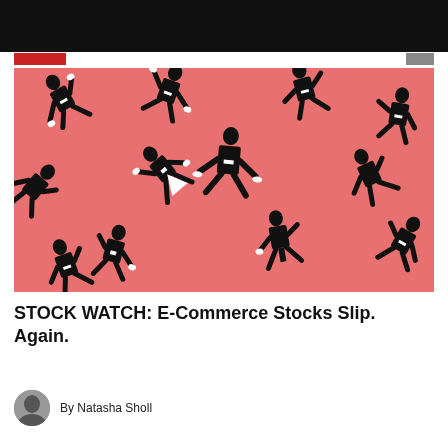[Figure (illustration): Illustration on a salmon/coral pink background showing multiple black silhouettes of businessmen in suits falling through the air in various tumbling poses, suggesting stock market decline.]
STOCK WATCH: E-Commerce Stocks Slip. Again.
By Natasha Sholl